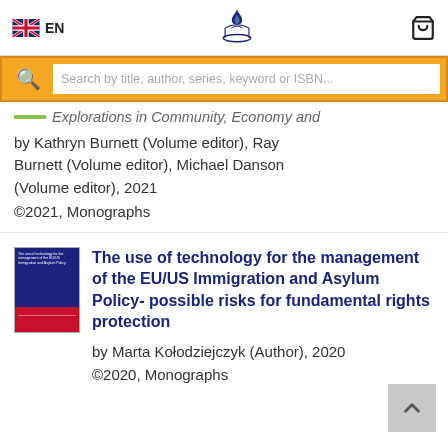EN | [logo] | [cart]
Search by title, author, series, keyword or ISBN...
Explorations in Community, Economy and [series title, partially visible]
by Kathryn Burnett (Volume editor), Ray Burnett (Volume editor), Michael Danson (Volume editor), 2021
©2021, Monographs
The use of technology for the management of the EU/US Immigration and Asylum Policy- possible risks for fundamental rights protection
by Marta Kołodziejczyk (Author), 2020
©2020, Monographs